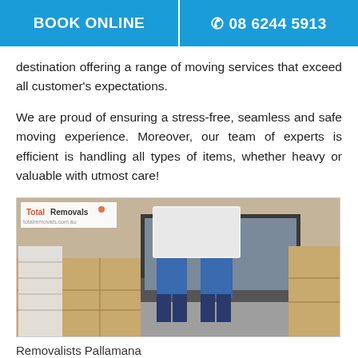BOOK ONLINE | 08 6244 5913
destination offering a range of moving services that exceed all customer's expectations.
We are proud of ensuring a stress-free, seamless and safe moving experience. Moreover, our team of experts is efficient is handling all types of items, whether heavy or valuable with utmost care!
[Figure (photo): Two removalists in blue uniforms carrying a large white item off a truck, surrounded by stacked cardboard boxes. TotalRemovals logo visible in top-left corner.]
Removalists Pallamana